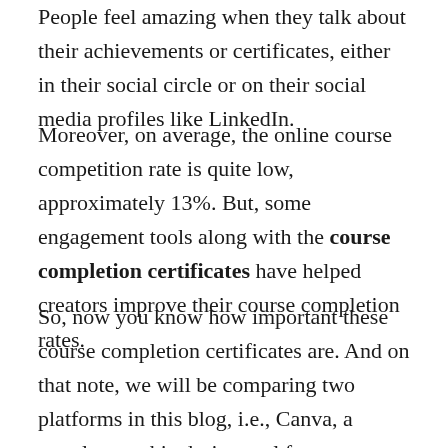People feel amazing when they talk about their achievements or certificates, either in their social circle or on their social media profiles like LinkedIn.
Moreover, on average, the online course competition rate is quite low, approximately 13%. But, some engagement tools along with the course completion certificates have helped creators improve their course completion rates.
So, now you know how important these course completion certificates are. And on that note, we will be comparing two platforms in this blog, i.e., Canva, a popular graphic design tool for non-designers, with Graphy, an all-in-one online course hosting platform for creators to grow and scale their online teaching